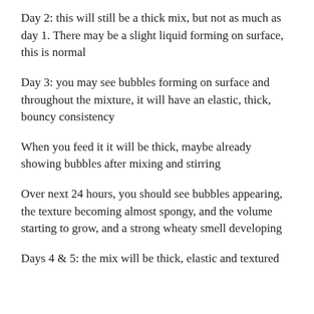Day 2: this will still be a thick mix, but not as much as day 1. There may be a slight liquid forming on surface, this is normal
Day 3: you may see bubbles forming on surface and throughout the mixture, it will have an elastic, thick, bouncy consistency
When you feed it it will be thick, maybe already showing bubbles after mixing and stirring
Over next 24 hours, you should see bubbles appearing, the texture becoming almost spongy, and the volume starting to grow, and a strong wheaty smell developing
Days 4 & 5: the mix will be thick, elastic and textured